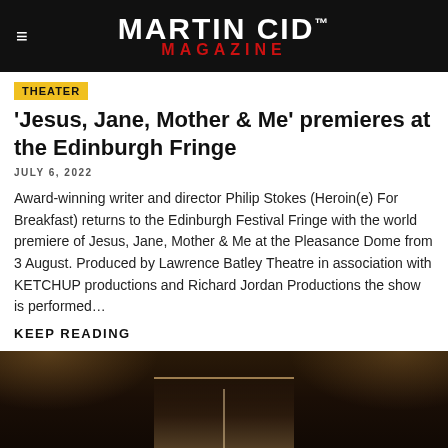MARTIN CID™ MAGAZINE
THEATER
'Jesus, Jane, Mother & Me' premieres at the Edinburgh Fringe
JULY 6, 2022
Award-winning writer and director Philip Stokes (Heroin(e) For Breakfast) returns to the Edinburgh Festival Fringe with the world premiere of Jesus, Jane, Mother & Me at the Pleasance Dome from 3 August. Produced by Lawrence Batley Theatre in association with KETCHUP productions and Richard Jordan Productions the show is performed…
KEEP READING
[Figure (photo): Dark theater stage scene with warm lighting from above, a vertical dividing element at center, and a figure or display visible at the bottom center of the image.]